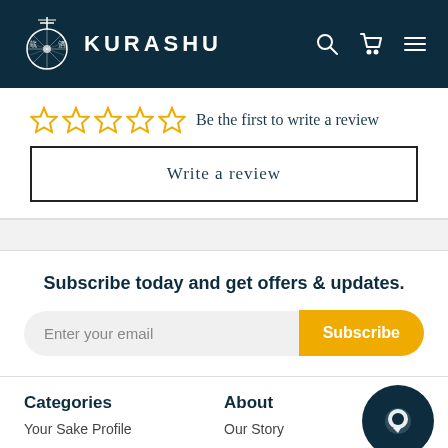[Figure (logo): Kurashu website navigation bar with logo (sake-related icon and brand name KURASHU), search icon, cart icon, and hamburger menu on dark navy background]
[Figure (other): Five empty star rating icons in gold/yellow with text 'Be the first to write a review' and a 'Write a review' button below]
Subscribe today and get offers & updates.
[Figure (other): Email subscription input field with placeholder 'Enter your email' and a yellow 'Subscribe' button]
Categories
Your Sake Profile
About
Our Story